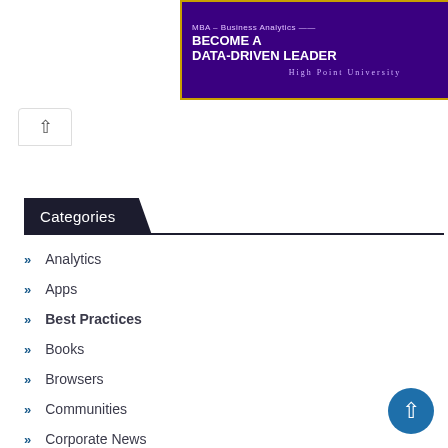[Figure (other): Advertisement banner for High Point University MBA in Business Analytics. Purple background with orange border. Text: 'MBA – Business Analytics BECOME A DATA-DRIVEN LEADER' with 'LEARN MORE' orange button and 'HIGH POINT UNIVERSITY' text at bottom.]
Categories
Analytics
Apps
Best Practices
Books
Browsers
Communities
Corporate News